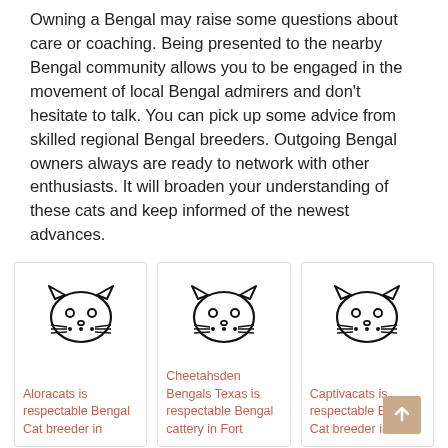Owning a Bengal may raise some questions about care or coaching. Being presented to the nearby Bengal community allows you to be engaged in the movement of local Bengal admirers and don't hesitate to talk. You can pick up some advice from skilled regional Bengal breeders. Outgoing Bengal owners always are ready to network with other enthusiasts. It will broaden your understanding of these cats and keep informed of the newest advances.
[Figure (illustration): Three card panels each showing a cat face icon (outline illustration of cat head with whiskers and dots) and a text caption below. Left card: 'Aloracats is respectable Bengal Cat breeder in'. Middle card: 'Cheetahsden Bengals Texas is respectable Bengal cattery in Fort'. Right card: 'Captivacats is respectable Bengal Cat breeder in'. A tan/beige scroll-to-top button is partially visible over the right card.]